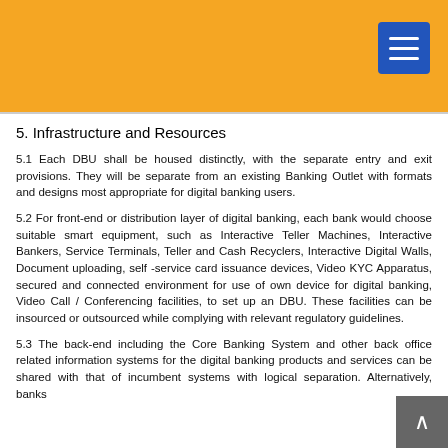5. Infrastructure and Resources
5.1 Each DBU shall be housed distinctly, with the separate entry and exit provisions. They will be separate from an existing Banking Outlet with formats and designs most appropriate for digital banking users.
5.2 For front-end or distribution layer of digital banking, each bank would choose suitable smart equipment, such as Interactive Teller Machines, Interactive Bankers, Service Terminals, Teller and Cash Recyclers, Interactive Digital Walls, Document uploading, self -service card issuance devices, Video KYC Apparatus, secured and connected environment for use of own device for digital banking, Video Call / Conferencing facilities, to set up an DBU. These facilities can be insourced or outsourced while complying with relevant regulatory guidelines.
5.3 The back-end including the Core Banking System and other back office related information systems for the digital banking products and services can be shared with that of incumbent systems with logical separation. Alternatively, banks